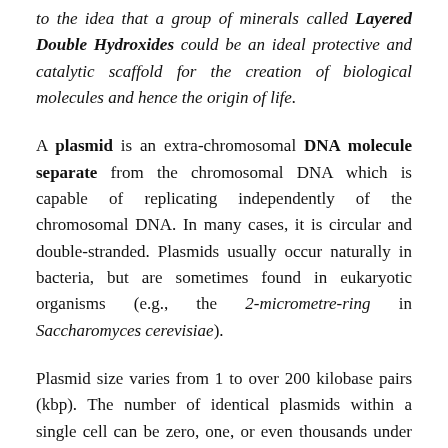to the idea that a group of minerals called Layered Double Hydroxides could be an ideal protective and catalytic scaffold for the creation of biological molecules and hence the origin of life.
A plasmid is an extra-chromosomal DNA molecule separate from the chromosomal DNA which is capable of replicating independently of the chromosomal DNA. In many cases, it is circular and double-stranded. Plasmids usually occur naturally in bacteria, but are sometimes found in eukaryotic organisms (e.g., the 2-micrometre-ring in Saccharomyces cerevisiae).
Plasmid size varies from 1 to over 200 kilobase pairs (kbp). The number of identical plasmids within a single cell can be zero, one, or even thousands under some circumstances. Plasmids can be considered to be part of the mobilome, since they